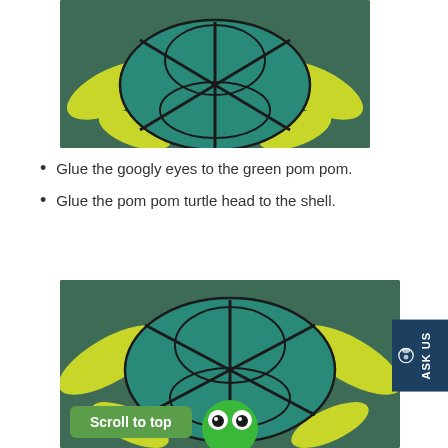[Figure (photo): Handmade turtle craft made from egg carton painted teal/green with black lines forming shell pattern, yellow-green paper flippers, on dark green background]
Glue the googly eyes to the green pom pom.
Glue the pom pom turtle head to the shell.
[Figure (photo): Completed handmade turtle craft with teal egg carton shell, yellow-green paper flippers, and green pom pom head with googly eyes attached, on dark green background. Green 'Scroll to top' button overlay at bottom left.]